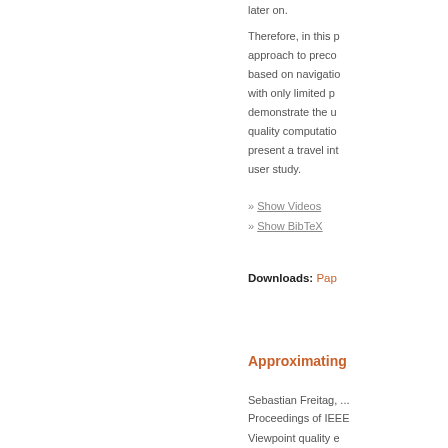later on.
Therefore, in this p... approach to preco... based on navigatio... with only limited p... demonstrate the u... quality computatio... present a travel int... user study.
» Show Videos
» Show BibTeX
Downloads:   Pap...
Approximating
Sebastian Freitag, ...
Proceedings of IEEE...
Viewpoint quality e... the most informati...